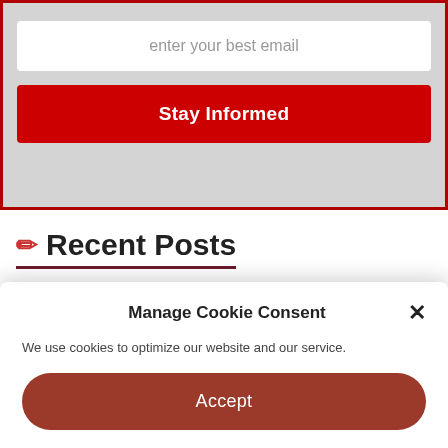[Figure (screenshot): Email signup form with a text input field showing placeholder text 'enter your best email' and a red 'Stay Informed' button, contained within a gray box with red border]
✏ Recent Posts
CRTC commissioner 'would have made it mandatory' to
Manage Cookie Consent
We use cookies to optimize our website and our service.
Accept